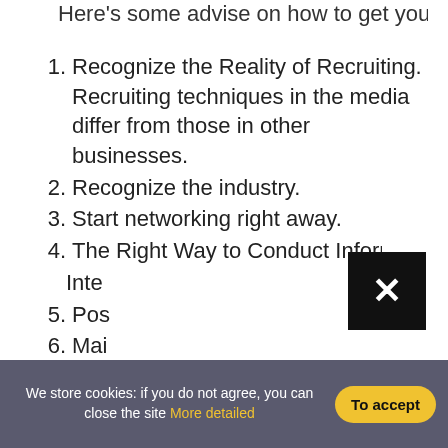Here's some advise on how to get your first job.
1. Recognize the Reality of Recruiting. Recruiting techniques in the media differ from those in other businesses.
2. Recognize the industry.
3. Start networking right away.
4. The Right Way to Conduct Informational Inte[rviews]
5. Pos[ition yourself]
6. Mai[ntain your network]
7. Mai[ntain your momentum]
How [to start networking]
[Figure (other): Black close/dismiss button with white X]
We store cookies: if you do not agree, you can close the site More detailed
To accept